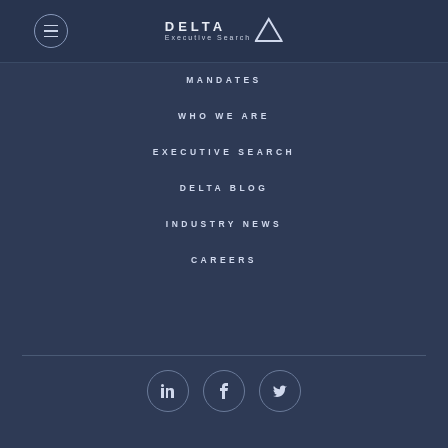Delta Executive Search - navigation menu
[Figure (logo): Delta Executive Search logo with triangle icon]
MANDATES
WHO WE ARE
EXECUTIVE SEARCH
DELTA BLOG
INDUSTRY NEWS
CAREERS
[Figure (infographic): Social media icons: LinkedIn, Facebook, Twitter in circular outlines]